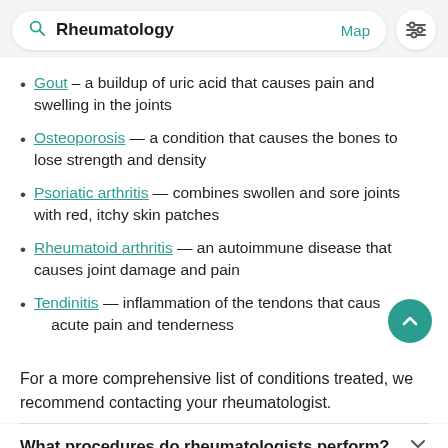Rheumatology  Map
Gout – a buildup of uric acid that causes pain and swelling in the joints
Osteoporosis — a condition that causes the bones to lose strength and density
Psoriatic arthritis — combines swollen and sore joints with red, itchy skin patches
Rheumatoid arthritis — an autoimmune disease that causes joint damage and pain
Tendinitis — inflammation of the tendons that causes acute pain and tenderness
For a more comprehensive list of conditions treated, we recommend contacting your rheumatologist.
What procedures do rheumatologists perform?